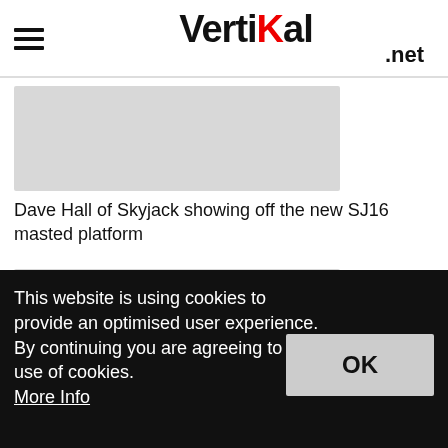Vertikal.net
[Figure (photo): Gray placeholder image area for a photo of Dave Hall of Skyjack showing off the new SJ16 masted platform]
Dave Hall of Skyjack showing off the new SJ16 masted platform
[Figure (photo): Gray placeholder image area, partially visible]
This website is using cookies to provide an optimised user experience. By continuing you are agreeing to the use of cookies. More Info